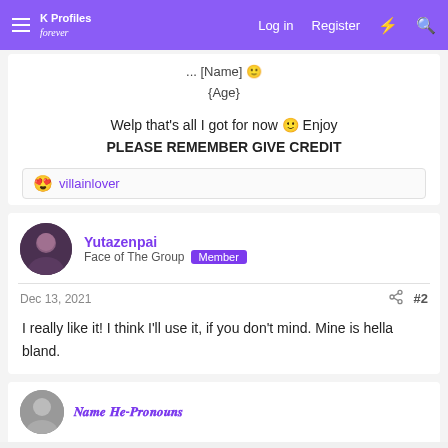Profiles | Log in | Register
... [Name] 🙂
{Age}
Welp that's all I got for now 🙂 Enjoy
PLEASE REMEMBER GIVE CREDIT
😍 villainlover
Yutazenpai
Face of The Group  Member
Dec 13, 2021  #2
I really like it! I think I'll use it, if you don't mind. Mine is hella bland.
𝑵𝒂𝒎𝒆 𝑯𝒆-𝑷𝒓𝒐𝒏𝒐𝒖𝒏𝒔